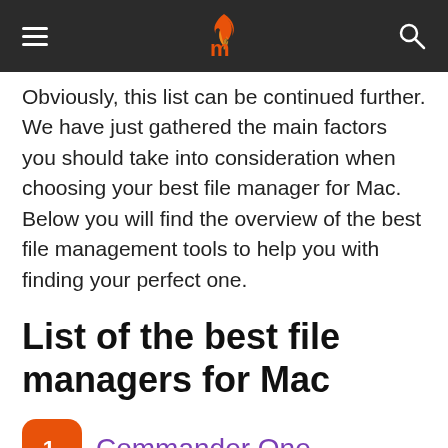Navigation bar with hamburger menu, logo, and search icon
Obviously, this list can be continued further. We have just gathered the main factors you should take into consideration when choosing your best file manager for Mac. Below you will find the overview of the best file management tools to help you with finding your perfect one.
List of the best file managers for Mac
1. Commander One